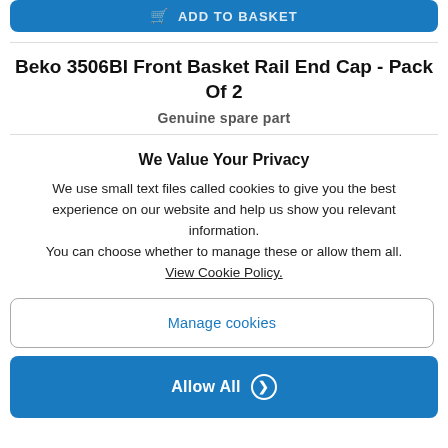[Figure (other): Blue 'Add to Basket' button with shopping cart icon, partially visible at top]
Beko 3506BI Front Basket Rail End Cap - Pack Of 2
Genuine spare part
We Value Your Privacy
We use small text files called cookies to give you the best experience on our website and help us show you relevant information.
You can choose whether to manage these or allow them all.
View Cookie Policy.
Manage cookies
Allow All